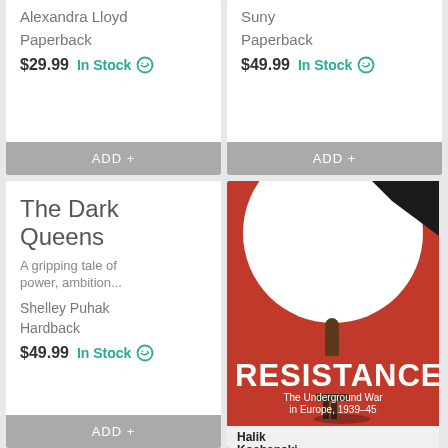Alexandra Lloyd
Paperback
$29.99  In Stock
ADD +
Suny
Paperback
$49.99  In Stock
ADD +
The Dark Queens
A gripping tale of power, ambition...
Shelley Puhak
Hardback
$49.99  In Stock
ADD +
[Figure (photo): Book cover for 'Resistance: The Underground War in Europe, 1939-45' by Halik Kochanski. Red and white cover with a silhouette figure standing against a large white circle on a red background, with a black diagonal shape at top. Bold white text reads RESISTANCE, below: The Underground War in Europe, 1939-45.]
Halik Kochanski